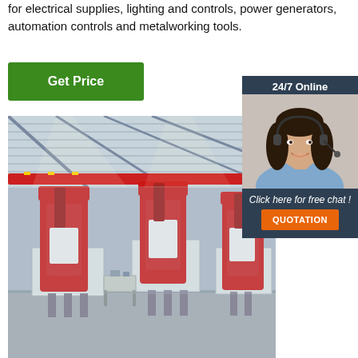for electrical supplies, lighting and controls, power generators, automation controls and metalworking tools.
[Figure (other): Green 'Get Price' button]
[Figure (other): Sidebar widget with '24/7 Online' text, photo of woman with headset, 'Click here for free chat!' text, and orange QUOTATION button on dark blue/grey background]
[Figure (photo): Factory interior showing red industrial band saw machines on production floor with overhead crane rail and metal roof structure]